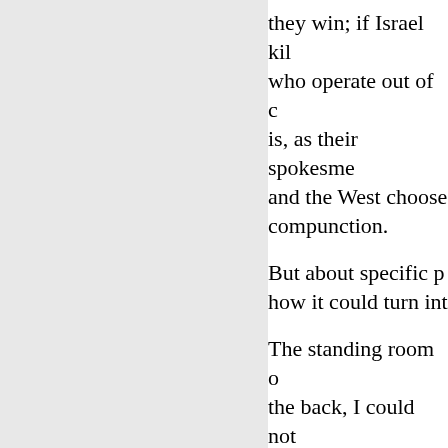they win; if Israel kil who operate out of c is, as their spokesme and the West choose compunction.
But about specific p how it could turn int
The standing room o the back, I could not screens. Though a m I would have put the present were Orthod black hat the only or
The most moving pa